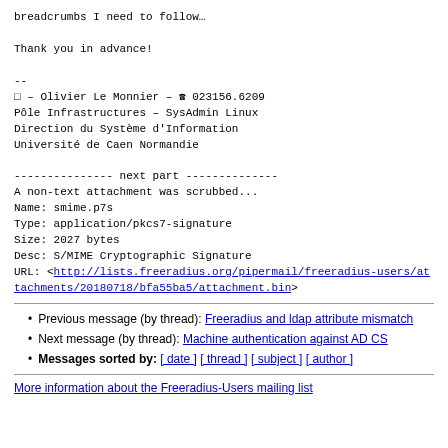breadcrumbs I need to follow…

Thank you in advance!

--
□ – Olivier Le Monnier – ☎ 023156.6209
Pôle Infrastructures – SysAdmin Linux
Direction du Système d'Information
Université de Caen Normandie
--------------- next part --------------
A non-text attachment was scrubbed...
Name: smime.p7s
Type: application/pkcs7-signature
Size: 2027 bytes
Desc: S/MIME Cryptographic Signature
URL: <http://lists.freeradius.org/pipermail/freeradius-users/attachments/20180718/bfa55ba5/attachment.bin>
Previous message (by thread): Freeradius and ldap attribute mismatch
Next message (by thread): Machine authentication against AD CS
Messages sorted by: [ date ] [ thread ] [ subject ] [ author ]
More information about the Freeradius-Users mailing list